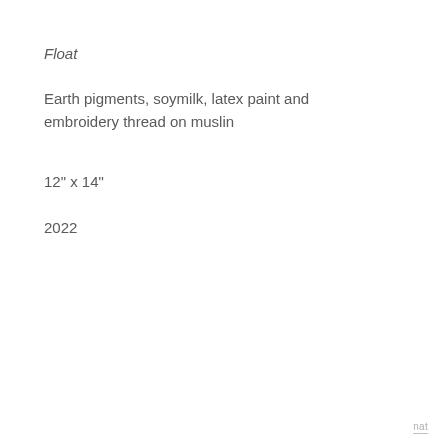Float
Earth pigments, soymilk, latex paint and embroidery thread on muslin
12" x 14"
2022
nat